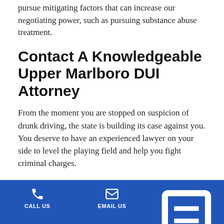pursue mitigating factors that can increase our negotiating power, such as pursuing substance abuse treatment.
Contact A Knowledgeable Upper Marlboro DUI Attorney
From the moment you are stopped on suspicion of drunk driving, the state is building its case against you. You deserve to have an experienced lawyer on your side to level the playing field and help you fight criminal charges.
To begin building your defense, I encourage you to contact me at 301-627-5297, or email me, and arrange y... U...
CALL US | EMAIL US | LOCATE US | Select Language